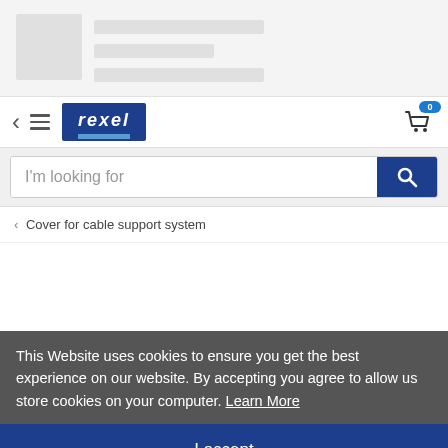[Figure (screenshot): Skeleton loading placeholder with grey image block and grey text line placeholders]
[Figure (screenshot): Rexel website navigation bar with back arrow, hamburger menu, Rexel logo, and shopping cart icon showing 0 items]
[Figure (screenshot): Search bar with placeholder text 'I'm looking for' and blue search button]
< Cover for cable support system
This Website uses cookies to ensure you get the best experience on our website. By accepting you agree to allow us store cookies on your computer. Learn More
I accept